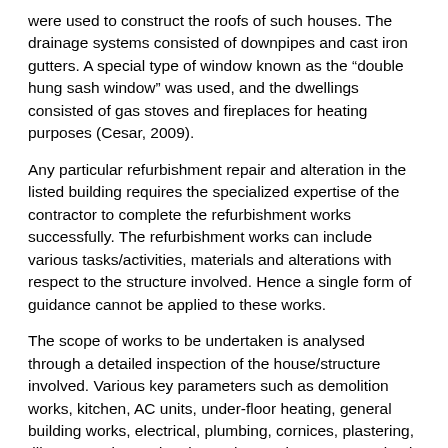were used to construct the roofs of such houses. The drainage systems consisted of downpipes and cast iron gutters. A special type of window known as the “double hung sash window” was used, and the dwellings consisted of gas stoves and fireplaces for heating purposes (Cesar, 2009).
Any particular refurbishment repair and alteration in the listed building requires the specialized expertise of the contractor to complete the refurbishment works successfully. The refurbishment works can include various tasks/activities, materials and alterations with respect to the structure involved. Hence a single form of guidance cannot be applied to these works.
The scope of works to be undertaken is analysed through a detailed inspection of the house/structure involved. Various key parameters such as demolition works, kitchen, AC units, under-floor heating, general building works, electrical, plumbing, cornices, plastering, tiling, carpeting and various other works are categorised and sub-categorized to form a detailed list of Bills of Quantities by the requirements of the clients. The proposal in terms of an outline and scope of works is then filed to attain necessary approvals from the local city council to start the refurbishment. A contract is normally signed against the scope of work (between the client and the